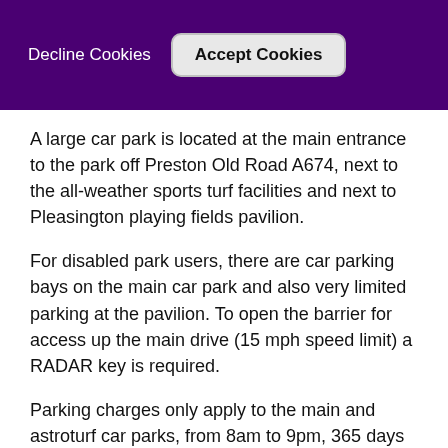Decline Cookies   Accept Cookies
A large car park is located at the main entrance to the park off Preston Old Road A674, next to the all-weather sports turf facilities and next to Pleasington playing fields pavilion.
For disabled park users, there are car parking bays on the main car park and also very limited parking at the pavilion. To open the barrier for access up the main drive (15 mph speed limit) a RADAR key is required.
Parking charges only apply to the main and astroturf car parks, from 8am to 9pm, 365 days a year.
Tower Road and Pleasington car parks are free.
The cost is 60p for 2 hours or £1.80 for the whole day. The machines take both coin and card payments (including